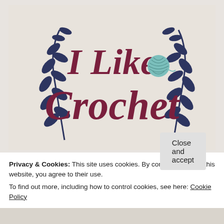[Figure (logo): I Like Crochet logo: dark navy olive branch decorations on both sides, large dark red serif text 'I Like' on top and 'Crochet' below, with a teal yarn ball icon between 'Like' and 'Crochet', on a beige/cream background]
Privacy & Cookies: This site uses cookies. By continuing to use this website, you agree to their use.
To find out more, including how to control cookies, see here: Cookie Policy
Close and accept